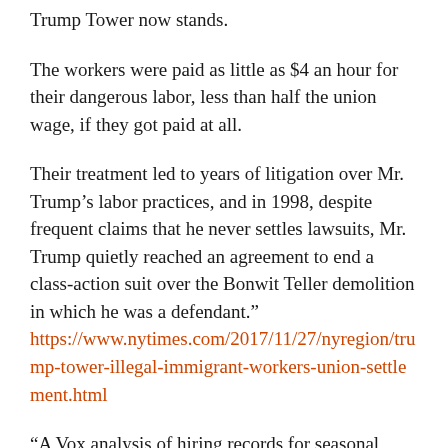Trump Tower now stands.
The workers were paid as little as $4 an hour for their dangerous labor, less than half the union wage, if they got paid at all.
Their treatment led to years of litigation over Mr. Trump’s labor practices, and in 1998, despite frequent claims that he never settles lawsuits, Mr. Trump quietly reached an agreement to end a class-action suit over the Bonwit Teller demolition in which he was a defendant.” https://www.nytimes.com/2017/11/27/nyregion/trump-tower-illegal-immigrant-workers-union-settlement.html
“A Vox analysis of hiring records for seasonal workers at three Trump properties in New